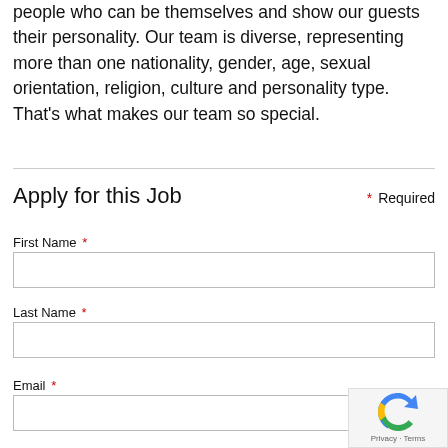people who can be themselves and show our guests their personality. Our team is diverse, representing more than one nationality, gender, age, sexual orientation, religion, culture and personality type. That's what makes our team so special.
Apply for this Job
* Required
First Name *
Last Name *
Email *